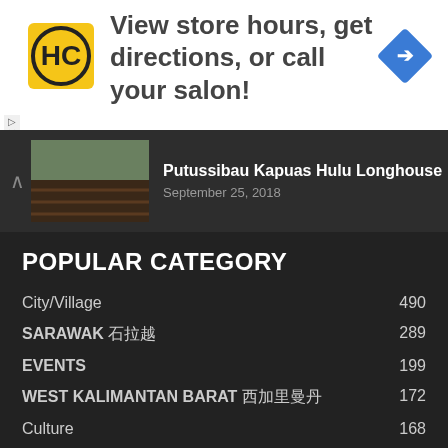[Figure (other): Advertisement banner: HC logo, text 'View store hours, get directions, or call your salon!', blue directions icon]
[Figure (photo): Post preview: Putussibau Kapuas Hulu Longhouse thumbnail image with chevron up arrow]
Putussibau Kapuas Hulu Longhouse
September 25, 2018
POPULAR CATEGORY
City/Village  490
SARAWAK 砂拉越  289
EVENTS  199
WEST KALIMANTAN BARAT 西加里曼丹  172
Culture  168
Trekking  84
Waterfalls  66
EAST KALIMANTAN TIMUR 東加里曼丹  56